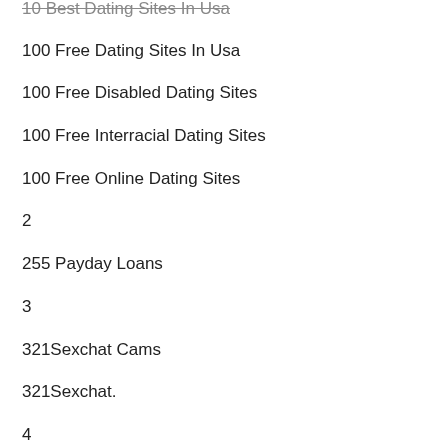10 Best Dating Sites In Usa
100 Free Dating Sites In Usa
100 Free Disabled Dating Sites
100 Free Interracial Dating Sites
100 Free Online Dating Sites
2
255 Payday Loans
3
321Sexchat Cams
321Sexchat.
4
5
6
7